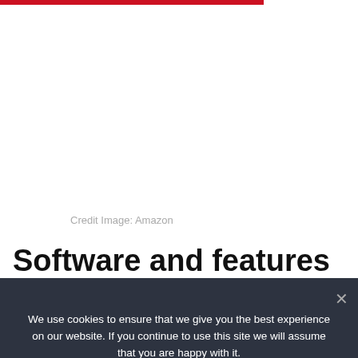[Figure (other): Red horizontal bar at top of page, partial width]
Credit Image: Amazon
Software and features
We use cookies to ensure that we give you the best experience on our website. If you continue to use this site we will assume that you are happy with it.
Ok   Privacy policy